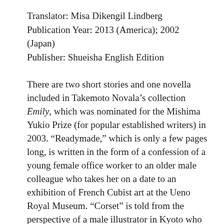Translator: Misa Dikengil Lindberg
Publication Year: 2013 (America); 2002 (Japan)
Publisher: Shueisha English Edition
There are two short stories and one novella included in Takemoto Novala’s collection Emily, which was nominated for the Mishima Yukio Prize (for popular established writers) in 2003. “Readymade,” which is only a few pages long, is written in the form of a confession of a young female office worker to an older male colleague who takes her on a date to an exhibition of French Cubist art at the Ueno Royal Museum. “Corset” is told from the perspective of a male illustrator in Kyoto who plans to indulge in a short romantic relationship with an engaged